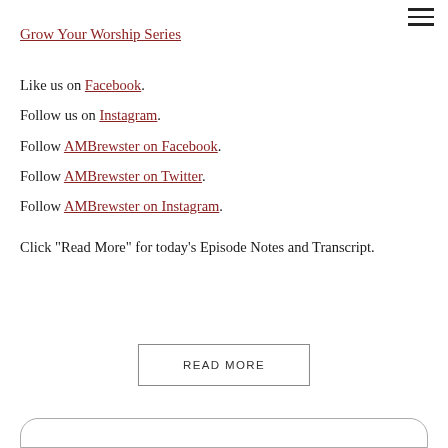Grow Your Worship Series
Like us on Facebook.
Follow us on Instagram.
Follow AMBrewster on Facebook.
Follow AMBrewster on Twitter.
Follow AMBrewster on Instagram.
Click "Read More" for today's Episode Notes and Transcript.
READ MORE